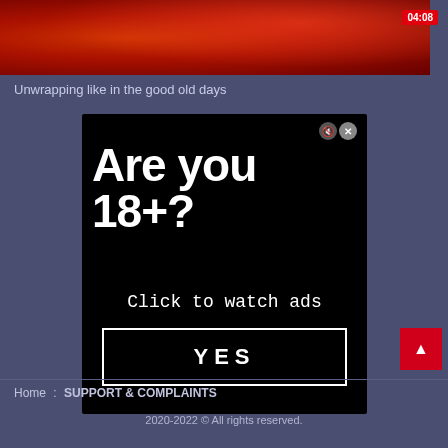[Figure (screenshot): Video thumbnail showing red blurry image with timestamp 04:08 in top right corner]
Unwrapping like in the good old days
[Figure (screenshot): Age verification advertisement overlay on black background. Large text reads 'Are you 18+?' with subtext 'Click to watch ads' and a YES button. Close and mute buttons in top right corner.]
Home  SUPPORT & COMPLAINTS
2020-2022 © All rights reserved.